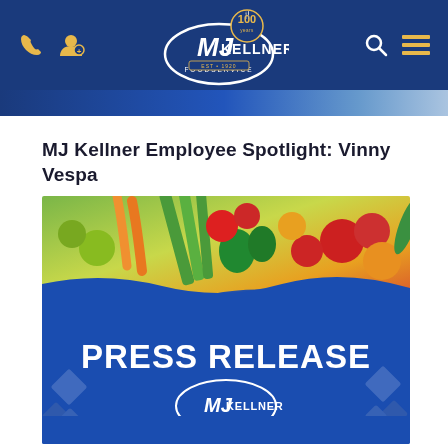MJ Kellner Foodservice - Navigation bar with logo, phone icon, user icon, search icon, and menu icon
MJ Kellner Employee Spotlight: Vinny Vespa
[Figure (photo): Press release image with vegetable photo at top and blue background at bottom showing 'PRESS RELEASE' text and MJ Kellner Foodservice logo]